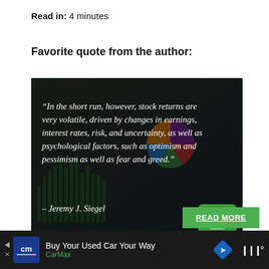Read in: 4 minutes
Favorite quote from the author:
[Figure (photo): Dark overlay image of financial charts and documents with a quote: '"In the short run, however, stock returns are very volatile, driven by changes in earnings, interest rates, risk, and uncertainty, as well as psychological factors, such as optimism and pessimism as well as fear and greed." - Jeremy J. Siegel' and a 'Four Minute Books' logo badge in the bottom right corner.]
READ MORE
Buy Your Used Car Your Way  CarMax